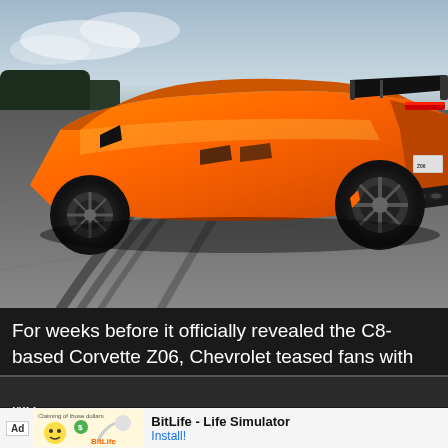[Figure (photo): Orange Chevrolet Corvette Z06 C8 sports car photographed from rear three-quarter angle on a race track, with dramatic low-angle perspective showing tire marks on asphalt.]
For weeks before it officially revealed the C8-based Corvette Z06, Chevrolet teased fans with information on the car. With the car now official, we ...
Read >
< Previ
Next >
[Figure (screenshot): BitLife - Life Simulator app advertisement banner with Ad badge, cartoon emoji and sperm cell graphics, app name and Install button.]